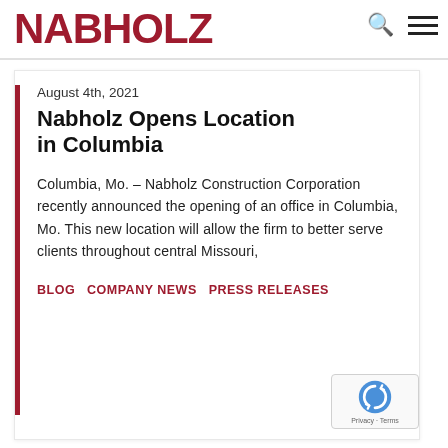NABHOLZ
August 4th, 2021
Nabholz Opens Location in Columbia
Columbia, Mo. – Nabholz Construction Corporation recently announced the opening of an office in Columbia, Mo. This new location will allow the firm to better serve clients throughout central Missouri,
BLOG   COMPANY NEWS   PRESS RELEASES